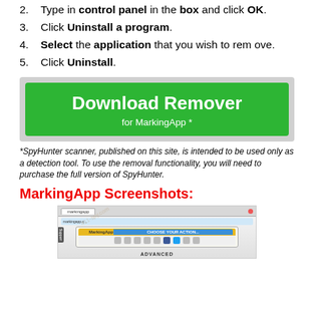2. Type in control panel in the box and click OK.
3. Click Uninstall a program.
4. Select the application that you wish to remove.
5. Click Uninstall.
[Figure (infographic): Green download button banner with text 'Download Remover for MarkingApp *' on a gray background]
*SpyHunter scanner, published on this site, is intended to be used only as a detection tool. To use the removal functionality, you will need to purchase the full version of SpyHunter.
MarkingApp Screenshots:
[Figure (screenshot): Screenshot of MarkingApp browser toolbar showing MarkingApp popup with icons and 'ADVANCED' label at the bottom]